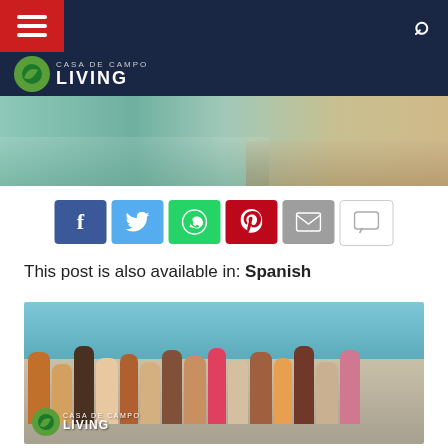Casa de Campo Living
[Figure (photo): Hero banner photo showing water sports/beach scene at Casa de Campo]
[Figure (infographic): Social share buttons row: Facebook, Twitter, WhatsApp, Pinterest, Email, Comment]
This post is also available in: Spanish
[Figure (photo): Group of people in swimwear on a catamaran/boat on turquoise water, with Casa de Campo Living watermark logo in bottom left]